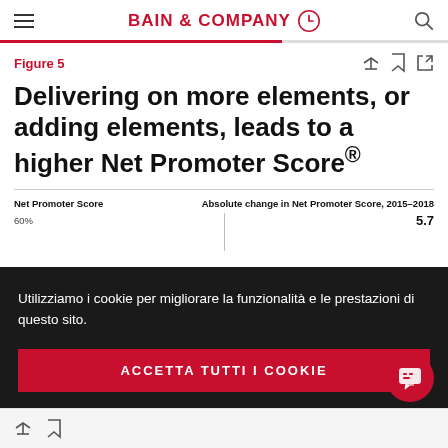BAIN & COMPANY
Figure 5
Delivering on more elements, or adding elements, leads to a higher Net Promoter Score®
[Figure (other): Partial chart showing 'Net Promoter Score' on left axis (60%) and 'Absolute change in Net Promoter Score, 2015–2018' on right (5.7), overlaid by cookie consent banner]
Utilizziamo i cookie per migliorare la funzionalità e le prestazioni di questo sito.
ACCETTA TUTTI I COOKIE